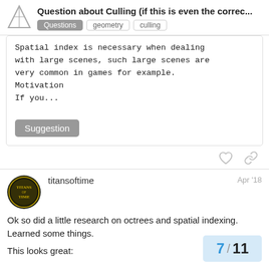Question about Culling (if this is even the correc... | Questions | geometry | culling
Spatial index is necessary when dealing with large scenes, such large scenes are very common in games for example.
Motivation
If you...
Suggestion
titansoftime   Apr '18
Ok so did a little research on octrees and spatial indexing. Learned some things.
This looks great:
7 / 11